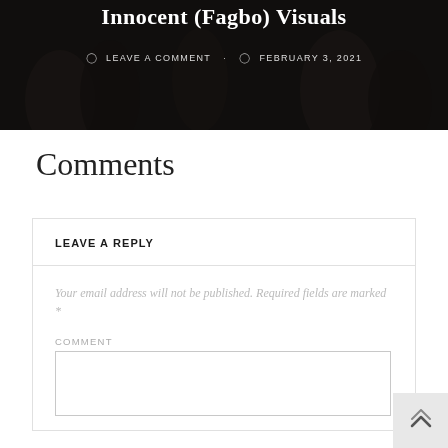[Figure (photo): Dark banner image with people, overlaid with text title 'Innocent (Fagbo) Visuals' and metadata showing 'LEAVE A COMMENT' and 'FEBRUARY 3, 2021']
Comments
LEAVE A REPLY
Your email address will not be published. Required fields are marked *
COMMENT